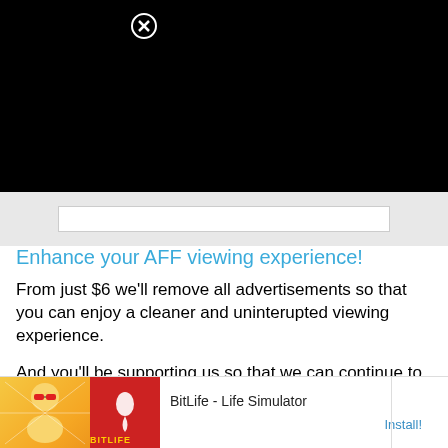[Figure (screenshot): Black video/media area with a close button (circled X) in the upper left]
Enhance your AFF viewing experience!
From just $6 we'll remove all advertisements so that you can enjoy a cleaner and uninterupted viewing experience.
And you'll be supporting us so that we can continue to provide this valuable resource :)
[Figure (other): Green 'Upgrade Now!' button]
[Figure (other): Ad banner for BitLife - Life Simulator with Install button]